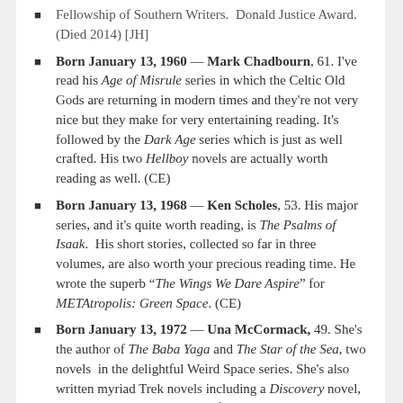Fellowship of Southern Writers.  Donald Justice Award.  (Died 2014) [JH]
Born January 13, 1960 — Mark Chadbourn, 61. I've read his Age of Misrule series in which the Celtic Old Gods are returning in modern times and they're not very nice but they make for very entertaining reading. It's followed by the Dark Age series which is just as well crafted. His two Hellboy novels are actually worth reading as well. (CE)
Born January 13, 1968 — Ken Scholes, 53. His major series, and it's quite worth reading, is The Psalms of Isaak.  His short stories, collected so far in three volumes, are also worth your precious reading time. He wrote the superb "The Wings We Dare Aspire" for METAtropolis: Green Space. (CE)
Born January 13, 1972 — Una McCormack, 49. She's the author of The Baba Yaga and The Star of the Sea, two novels  in the delightful Weird Space series. She's also written myriad Trek novels including a Discovery novel, The Way to the Stars, and the first Picard novel, The Last Best